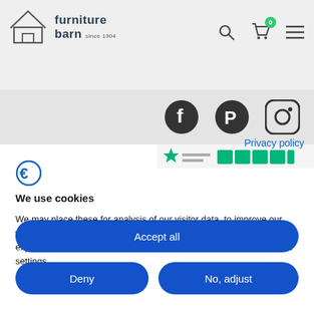furniture barn since 1904
[Figure (logo): Furniture Barn logo with barn house icon and text 'furniture barn since 1904']
[Figure (infographic): Social media icons: Facebook, Pinterest, Instagram]
[Figure (infographic): Trustpilot rating bar partially visible]
Privacy policy
[Figure (logo): Cookiebot/cookie consent logo icon]
We use cookies
We may place these for analysis of our visitor data, to improve our website, show personalised content and to give you a great website experience. For more information about the cookies we use open the settings.
Accept all
Deny
No, adjust